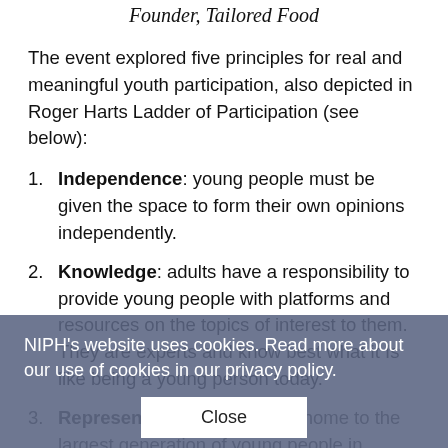Founder, Tailored Food
The event explored five principles for real and meaningful youth participation, also depicted in Roger Harts Ladder of Participation (see below):
Independence: young people must be given the space to form their own opinions independently.
Knowledge: adults have a responsibility to provide young people with platforms and resources on the topics of interest to them. They are experts and know best what it Is like being a young person today.
Representation: our world is home to the largest generation of young people in history, each with unique perspectives. Do not generalise or talk about youth as a 'collective'.
Information: ...